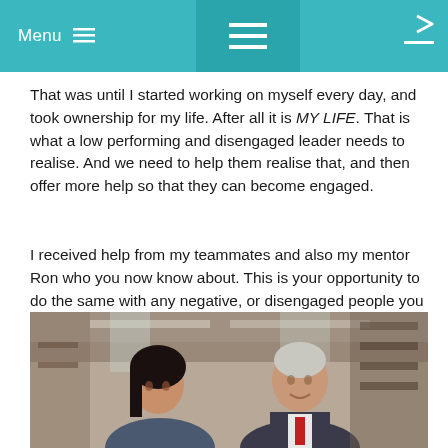Menu ☰
That was until I started working on myself every day, and took ownership for my life. After all it is MY LIFE. That is what a low performing and disengaged leader needs to realise. And we need to help them realise that, and then offer more help so that they can become engaged.
I received help from my teammates and also my mentor Ron who you now know about. This is your opportunity to do the same with any negative, or disengaged people you know or work with.
[Figure (photo): Two people at work — a young woman with dark hair and an older grey-haired man in a suit with a red tie, appearing to have a conversation in an office or industrial space.]